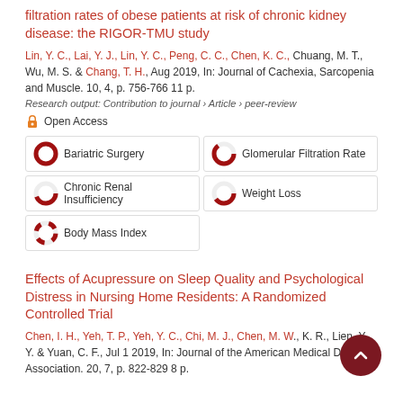filtration rates of obese patients at risk of chronic kidney disease: the RIGOR-TMU study
Lin, Y. C., Lai, Y. J., Lin, Y. C., Peng, C. C., Chen, K. C., Chuang, M. T., Wu, M. S. & Chang, T. H., Aug 2019, In: Journal of Cachexia, Sarcopenia and Muscle. 10, 4, p. 756-766 11 p.
Research output: Contribution to journal › Article › peer-review
Open Access
Bariatric Surgery
Glomerular Filtration Rate
Chronic Renal Insufficiency
Weight Loss
Body Mass Index
Effects of Acupressure on Sleep Quality and Psychological Distress in Nursing Home Residents: A Randomized Controlled Trial
Chen, I. H., Yeh, T. P., Yeh, Y. C., Chi, M. J., Chen, M. W., K. R., Lien, Y. Y. & Yuan, C. F., Jul 1 2019, In: Journal of the American Medical Directors Association. 20, 7, p. 822-829 8 p.